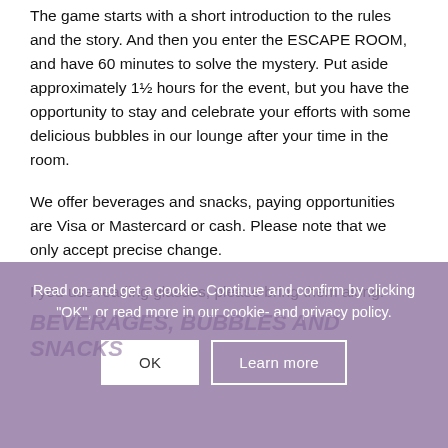The game starts with a short introduction to the rules and the story. And then you enter the ESCAPE ROOM, and have 60 minutes to solve the mystery. Put aside approximately 1½ hours for the event, but you have the opportunity to stay and celebrate your efforts with some delicious bubbles in our lounge after your time in the room.
We offer beverages and snacks, paying opportunities are Visa or Mastercard or cash. Please note that we only accept precise change.
I you use reading glasses, please bring them along.
Read on and get a cookie. Continue and confirm by clicking "OK", or read more in our cookie- and privacy policy.
BEVERAGES, BUBBLES AND SNACKS